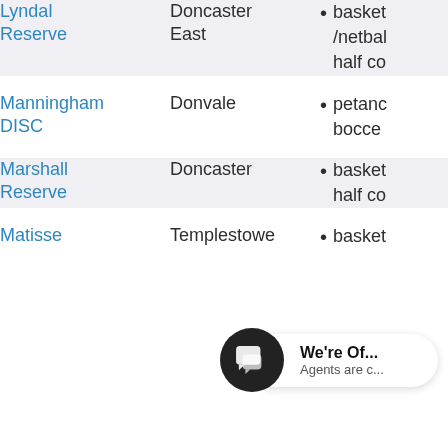| Name | Location | Facilities |
| --- | --- | --- |
| Lyndal Reserve | Doncaster East | basket/netbal half co |
| Manningham DISC | Donvale | petanc bocce |
| Marshall Reserve | Doncaster | basket half co |
| Matisse | Templestowe | basket |